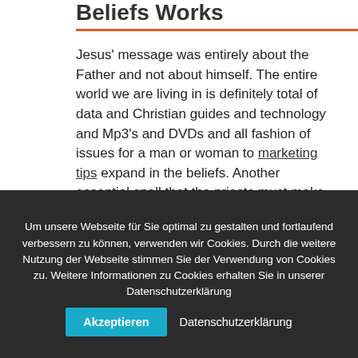Beliefs Works
Jesus' message was entirely about the Father and not about himself. The entire world we are living in is definitely total of data and Christian guides and technology and Mp3's and DVDs and all fashion of issues for a man or woman to marketing tips expand in the beliefs. Another essential spell that the priests must make use of really
Um unsere Webseite für Sie optimal zu gestalten und fortlaufend verbessern zu können, verwenden wir Cookies. Durch die weitere Nutzung der Webseite stimmen Sie der Verwendung von Cookies zu. Weitere Informationen zu Cookies erhalten Sie in unserer Datenschutzerklärung
Akzeptieren | Datenschutzerklärung